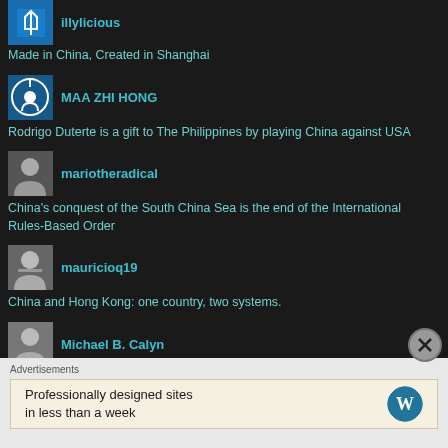illylicious — Made in China, Created in Shanghai
MAA ZHI HONG — Rodrigo Duterte is a gift to The Philippines by playing China against USA
mariotheradical — China's conquest of the South China Sea is the end of the International Rules-Based Order
mauricioq19 — China and Hong Kong: one country, two systems.
Michael B. Calyn — China loses out as Canada joins US in halting oil pipeline construction
Advertisements
Professionally designed sites in less than a week